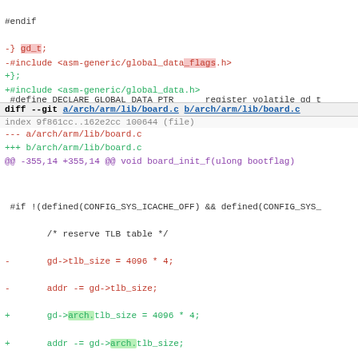#endif
-} gd_t;
+};
-#include <asm-generic/global_data_flags.h>
+#include <asm-generic/global_data.h>
#define DECLARE_GLOBAL_DATA_PTR    register volatile gd_t
diff --git a/arch/arm/lib/board.c b/arch/arm/lib/board.c
index 9f861cc..162e2cc 100644 (file)
--- a/arch/arm/lib/board.c
+++ b/arch/arm/lib/board.c
@@ -355,14 +355,14 @@ void board_init_f(ulong bootflag)
#if !(defined(CONFIG_SYS_ICACHE_OFF) && defined(CONFIG_SYS_
        /* reserve TLB table */
-       gd->tlb_size = 4096 * 4;
-       addr -= gd->tlb_size;
+       gd->arch.tlb_size = 4096 * 4;
+       addr -= gd->arch.tlb_size;

        /* round down to next 64 kB limit */
        addr &= ~(0x10000 - 1);

-       gd->tlb_addr = addr;
-       debug("TLB table from %081x to %081x\n", addr, addr
+       gd->arch.tlb_addr = addr;
+       debug("TLB table from %081x to %081x\n", addr, addr
 #endif